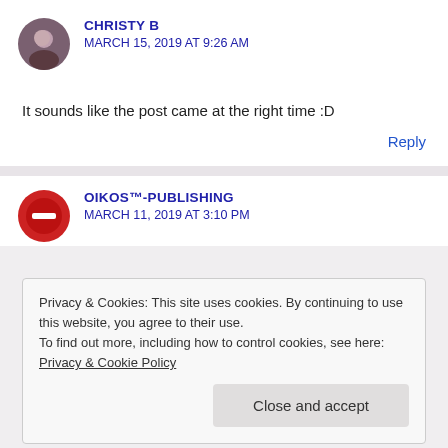[Figure (photo): Circular avatar photo of Christy B, a person with glasses]
CHRISTY B
MARCH 15, 2019 AT 9:26 AM
It sounds like the post came at the right time :D
Reply
[Figure (logo): Circular red logo for Oikos Publishing]
OIKOS™-PUBLISHING
MARCH 11, 2019 AT 3:10 PM
Privacy & Cookies: This site uses cookies. By continuing to use this website, you agree to their use.
To find out more, including how to control cookies, see here: Privacy & Cookie Policy
Close and accept